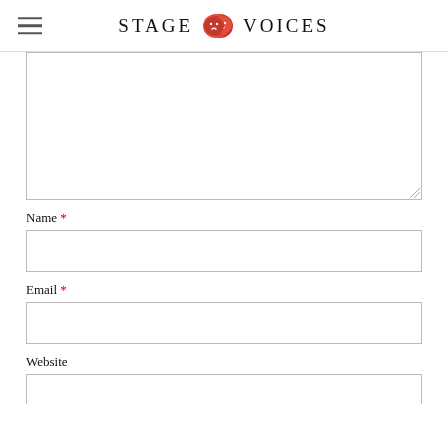STAGE VOICES
[Figure (other): Large empty textarea form field for comment input]
Name *
[Figure (other): Name input text field]
Email *
[Figure (other): Email input text field]
Website
[Figure (other): Website input text field (partial)]